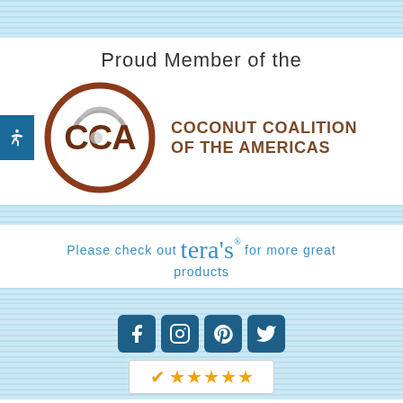Proud Member of the
[Figure (logo): CCA - Coconut Coalition of the Americas logo with circular emblem and text]
Please check out tera's for more great products
[Figure (infographic): Social media icons: Facebook, Instagram, Pinterest, Twitter in teal square buttons, and a rating widget with checkmark and stars]